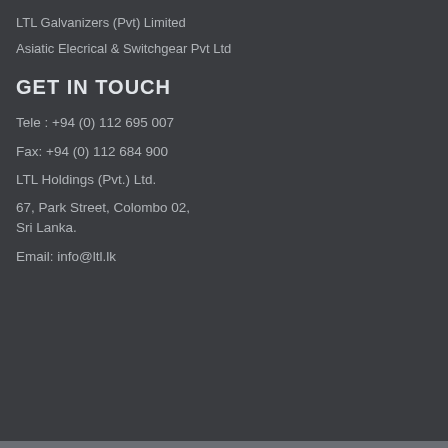LTL Galvanizers (Pvt) Limited
Asiatic Elecrical & Switchgear Pvt Ltd
GET IN TOUCH
Tele : +94 (0) 112 695 007
Fax: +94 (0) 112 684 900
LTL Holdings (Pvt.) Ltd.
67, Park Street, Colombo 02,
Sri Lanka.
Email: info@ltl.lk